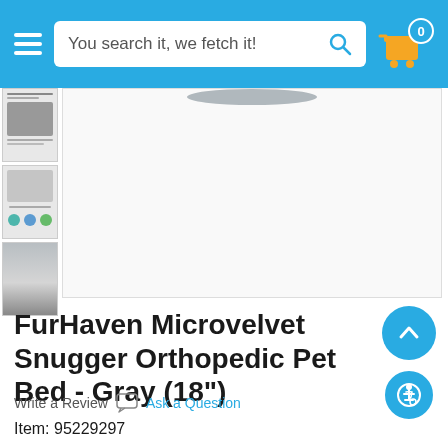You search it, we fetch it!
[Figure (screenshot): E-commerce product page screenshot showing a pet bed product. Header with hamburger menu, search bar, and shopping cart icon showing 0 items. Three product thumbnails on the left. Main product image area. Back-to-top and accessibility buttons on the right.]
FurHaven Microvelvet Snugger Orthopedic Pet Bed - Gray (18")
Write a Review   Ask a Question
Item: 95229297